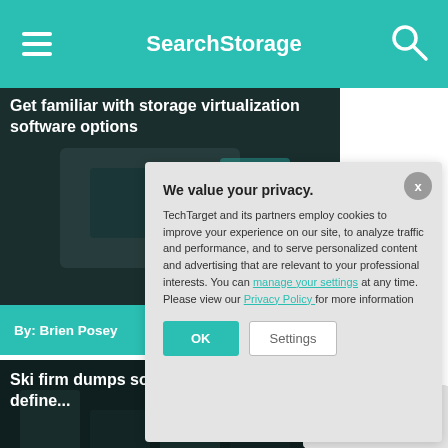SearchStorage
Get familiar with storage virtualization software options
By: Brien Posey
Ski firm dumps software-defined...
By: Yann Serra
DataCore's Car... storage
We value your privacy. TechTarget and its partners employ cookies to improve your experience on our site, to analyze traffic and performance, and to serve personalized content and advertising that are relevant to your professional interests. You can manage your settings at any time. Please view our Privacy Policy for more information